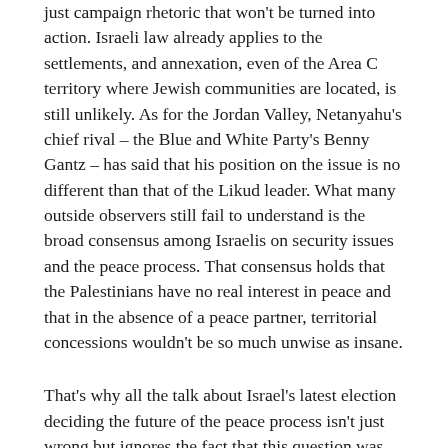just campaign rhetoric that won't be turned into action. Israeli law already applies to the settlements, and annexation, even of the Area C territory where Jewish communities are located, is still unlikely. As for the Jordan Valley, Netanyahu's chief rival – the Blue and White Party's Benny Gantz – has said that his position on the issue is no different than that of the Likud leader. What many outside observers still fail to understand is the broad consensus among Israelis on security issues and the peace process. That consensus holds that the Palestinians have no real interest in peace and that in the absence of a peace partner, territorial concessions wouldn't be so much unwise as insane.
That's why all the talk about Israel's latest election deciding the future of the peace process isn't just wrong but ignores the fact that this question was actually determined in an election held 14 years ago.
By that I refer to the vote that took place on Jan. 9, 2005 when Mahmoud Abbas was elected president of the Palestinian Authority, succeeding Yasser Arafat. Abbas, leader of Arafat's Fatah party and the chairman of the Palestine Liberation Organisation, won with 62% of the vote. That wasn't very